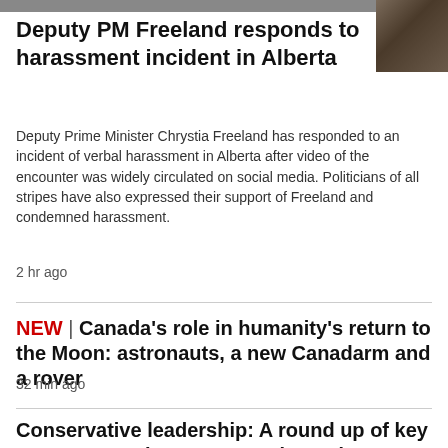[Figure (photo): Partial photo strip at top of page, with a thumbnail image of a person in a plaid shirt in the top-right corner]
Deputy PM Freeland responds to harassment incident in Alberta
Deputy Prime Minister Chrystia Freeland has responded to an incident of verbal harassment in Alberta after video of the encounter was widely circulated on social media. Politicians of all stripes have also expressed their support of Freeland and condemned harassment.
2 hr ago
NEW | Canada's role in humanity's return to the Moon: astronauts, a new Canadarm and a rover
32 min ago
Conservative leadership: A round up of key moments as the race nears its end
Tipping etiquette: When and how much it's